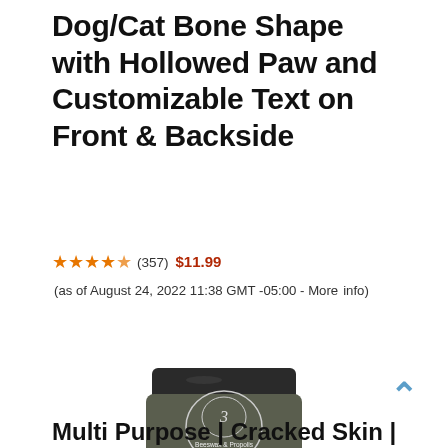Dog/Cat Bone Shape with Hollowed Paw and Customizable Text on Front & Backside
★★★★½ (357) $11.99 (as of August 24, 2022 11:38 GMT -05:00 - More info)
[Figure (photo): A dark glass jar with a dark lid labeled 'Beeswax & Propolis Magic Salve' with a logo at the top]
Multi Purpose | Cracked Skin |